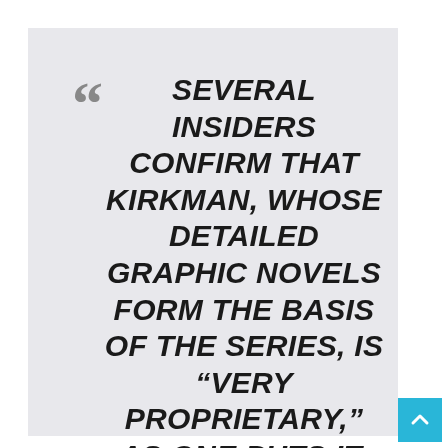SEVERAL INSIDERS CONFIRM THAT KIRKMAN, WHOSE DETAILED GRAPHIC NOVELS FORM THE BASIS OF THE SERIES, IS “VERY PROPRIETARY,” AS ONE PUTS IT. ONE ADDS, “I BELIEVE ROBERT WANTS TO MAINTAIN A CERTAIN AMOUNT OF HIS